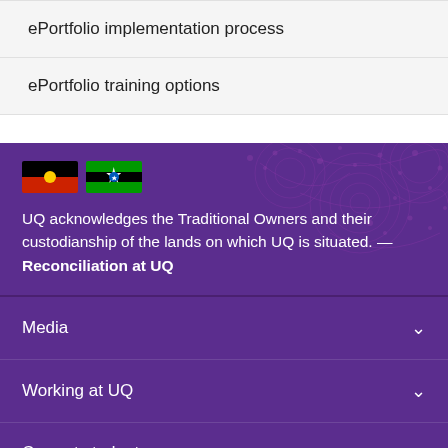ePortfolio implementation process
ePortfolio training options
[Figure (illustration): Aboriginal and Torres Strait Islander flags side by side]
UQ acknowledges the Traditional Owners and their custodianship of the lands on which UQ is situated. — Reconciliation at UQ
Media
Working at UQ
Current students